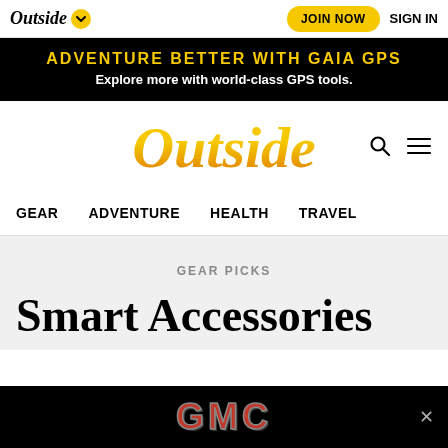Outside [dropdown] | JOIN NOW | SIGN IN
[Figure (infographic): Black banner ad: ADVENTURE BETTER WITH GAIA GPS — Explore more with world-class GPS tools.]
[Figure (logo): Outside magazine logo in gold/orange italic serif font, with search and hamburger menu icons]
GEAR | ADVENTURE | HEALTH | TRAVEL
GEAR PICKS
Smart Accessories
[Figure (logo): GMC logo advertisement on black background with close button]